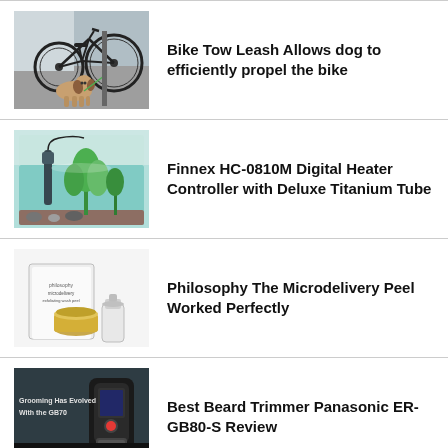[Figure (photo): A beagle dog sitting on a sidewalk next to a bicycle leaning against a post]
Bike Tow Leash Allows dog to efficiently propel the bike
[Figure (photo): An aquarium with green aquatic plants and a digital heater controller device]
Finnex HC-0810M Digital Heater Controller with Deluxe Titanium Tube
[Figure (photo): Philosophy The Microdelivery Peel skincare product box set with bottles and containers]
Philosophy The Microdelivery Peel Worked Perfectly
[Figure (photo): Panasonic ER-GB80-S beard trimmer advertisement with text Grooming Has Evolved With the GB70]
Best Beard Trimmer Panasonic ER-GB80-S Review